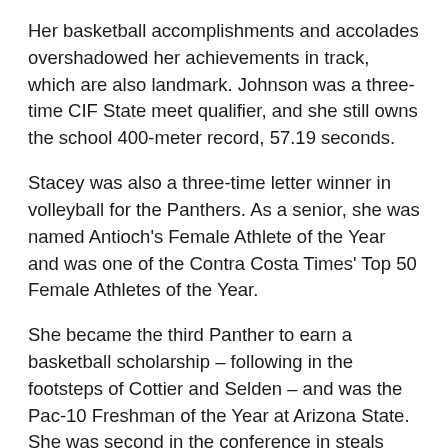Her basketball accomplishments and accolades overshadowed her achievements in track, which are also landmark. Johnson was a three-time CIF State meet qualifier, and she still owns the school 400-meter record, 57.19 seconds.
Stacey was also a three-time letter winner in volleyball for the Panthers. As a senior, she was named Antioch's Female Athlete of the Year and was one of the Contra Costa Times' Top 50 Female Athletes of the Year.
She became the third Panther to earn a basketball scholarship – following in the footsteps of Cottier and Selden – and was the Pac-10 Freshman of the Year at Arizona State. She was second in the conference in steals (3.2 per game) and 10th in scoring (14.2